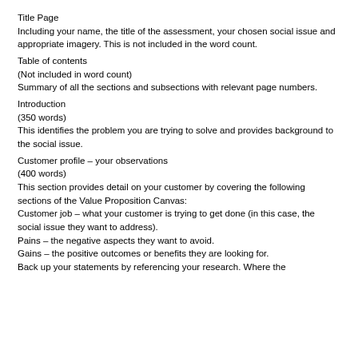Title Page
Including your name, the title of the assessment, your chosen social issue and appropriate imagery. This is not included in the word count.
Table of contents
(Not included in word count)
Summary of all the sections and subsections with relevant page numbers.
Introduction
(350 words)
This identifies the problem you are trying to solve and provides background to the social issue.
Customer profile – your observations
(400 words)
This section provides detail on your customer by covering the following sections of the Value Proposition Canvas:
Customer job – what your customer is trying to get done (in this case, the social issue they want to address).
Pains – the negative aspects they want to avoid.
Gains – the positive outcomes or benefits they are looking for.
Back up your statements by referencing your research. Where the